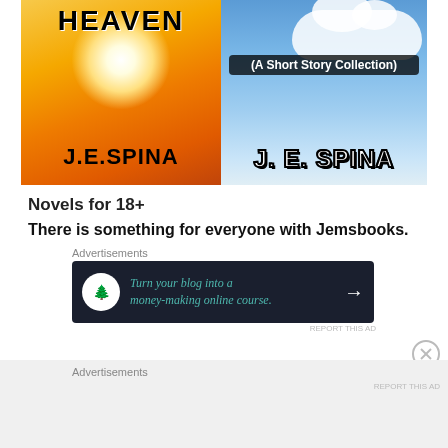[Figure (illustration): Two book covers side by side. Left cover: orange/golden sky with sun glow and text 'HEAVEN' and 'J.E.SPINA'. Right cover: blue sky with clouds, text '(A Short Story Collection)' and 'J. E. SPINA'.]
Novels for 18+
There is something for everyone with Jemsbooks.
Advertisements
[Figure (screenshot): Dark advertisement banner: 'Turn your blog into a money-making online course.' with arrow icon and tree logo.]
REPORT THIS AD
Advertisements